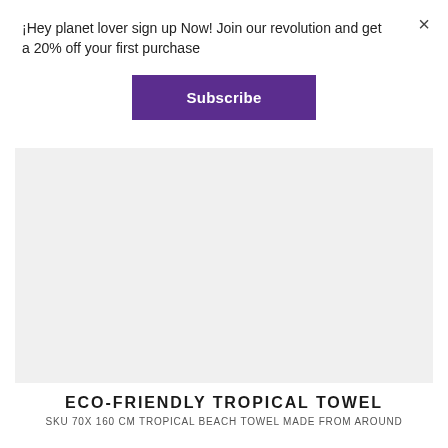¡Hey planet lover sign up Now! Join our revolution and get a 20% off your first purchase
×
Subscribe
[Figure (other): Light gray rectangular product image placeholder area for a beach towel product]
ECO-FRIENDLY TROPICAL TOWEL
SKU 70X 160 CM TROPICAL BEACH TOWEL MADE FROM AROUND